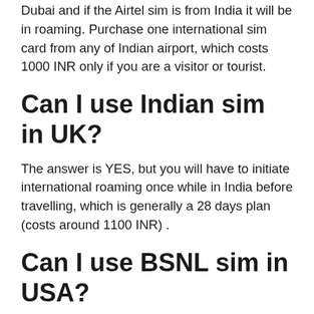Dubai and if the Airtel sim is from India it will be in roaming. Purchase one international sim card from any of Indian airport, which costs 1000 INR only if you are a visitor or tourist.
Can I use Indian sim in UK?
The answer is YES, but you will have to initiate international roaming once while in India before travelling, which is generally a 28 days plan (costs around 1100 INR) .
Can I use BSNL sim in USA?
BSNL's Roaming service gives you the complete freedom to use your mobile phone anywhere in India and abroad. How to